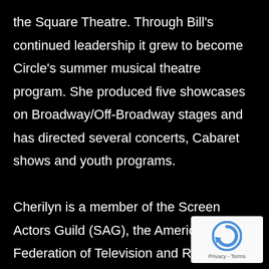the Square Theatre.  Through Bill's continued leadership it grew to become Circle's summer musical theatre program. She produced five showcases on Broadway/Off-Broadway stages and has directed several concerts, Cabaret shows and youth programs.

Cherilyn is a member of the Screen Actors Guild (SAG), the American Federation of Television and Radio Artists (AFTRA), and Actors Equity Association (AEA).  She has performed under most AEA contracts in musical theatre from Broadway National Tour-Off Broadway-Regional and Small Professional Theatre, Guest Artist, as well as on TV, voice overs, in concerts,
[Figure (logo): reCAPTCHA logo badge with circular arrow icon and 'Privacy - Terms' text]